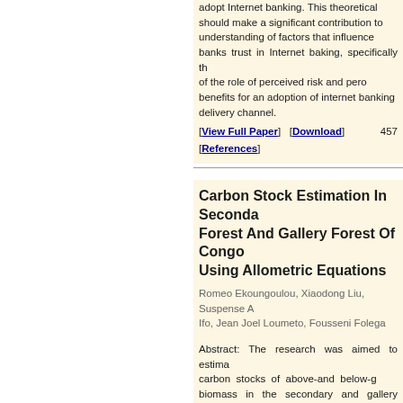adopt Internet banking. This theoretical should make a significant contribution to understanding of factors that influence banks trust in Internet baking, specifically the of the role of perceived risk and perceived benefits for an adoption of internet banking delivery channel.
[View Full Paper]   [Download]   457   [References]
Carbon Stock Estimation In Secondary Forest And Gallery Forest Of Congo Using Allometric Equations
Romeo Ekoungoulou, Xiaodong Liu, Suspense A. Ifo, Jean Joel Loumeto, Fousseni Folega
Abstract: The research was aimed to estimate carbon stocks of above-and below-ground biomass in the secondary and gallery forest Lesio-louna (Republic of Congo). The methodology of Allometric equations was used to measure the carbon stock of Lesio-louna natural forest. We were based precisely on the model which is also called non-destructive method indirect method of measuring carbon stock. We used parameters such as the Diameter at Breast Height (DBH) and wood density. The research